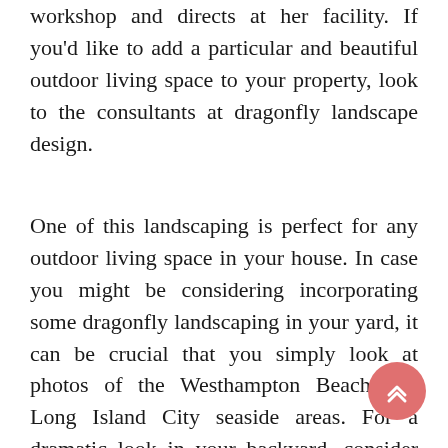workshop and directs at her facility. If you'd like to add a particular and beautiful outdoor living space to your property, look to the consultants at dragonfly landscape design.
One of this landscaping is perfect for any outdoor living space in your house. In case you might be considering incorporating some dragonfly landscaping in your yard, it can be crucial that you simply look at photos of the Westhampton Beach and Long Island City seaside areas. For a dramatic look in your backyard, consider the beautiful effects of the dragonfly landscape design. That is the kind of design agency you wish to deal with if you want to turn a basic lawn into a work of art, as she has seen firsthand the challenges